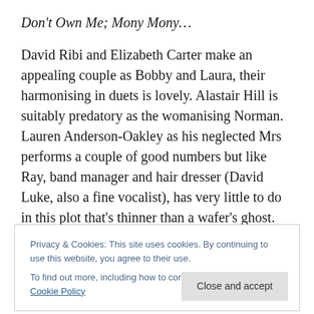Don't Own Me; Mony Mony…
David Ribi and Elizabeth Carter make an appealing couple as Bobby and Laura, their harmonising in duets is lovely. Alastair Hill is suitably predatory as the womanising Norman.  Lauren Anderson-Oakley as his neglected Mrs performs a couple of good numbers but like Ray, band manager and hair dresser (David Luke, also a fine vocalist), has very little to do in this plot that's thinner than a wafer's ghost.
Veteran artiste Mark Wynter plays Laura's manager, later
Privacy & Cookies: This site uses cookies. By continuing to use this website, you agree to their use.
To find out more, including how to control cookies, see here: Cookie Policy
manager and authority figure  Percy Churchill, who also